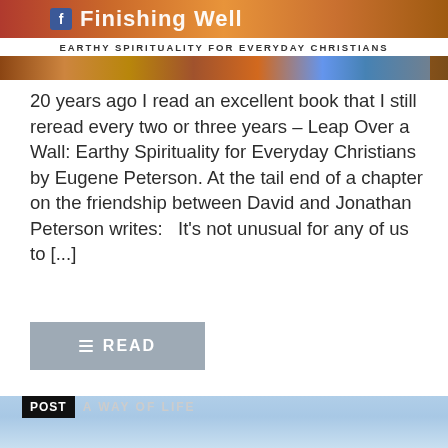[Figure (screenshot): Website header banner for 'Finishing Well' blog with Facebook icon, subtitle 'EARTHY SPIRITUALITY FOR EVERYDAY CHRISTIANS', and decorative colorful mosaic image strip]
20 years ago I read an excellent book that I still reread every two or three years – Leap Over a Wall: Earthy Spirituality for Everyday Christians by Eugene Peterson. At the tail end of a chapter on the friendship between David and Jonathan Peterson writes:   It’s not unusual for any of us to [...]
≡ READ
POST  A WAY OF LIFE
[Figure (photo): Blue sky image at bottom of page]